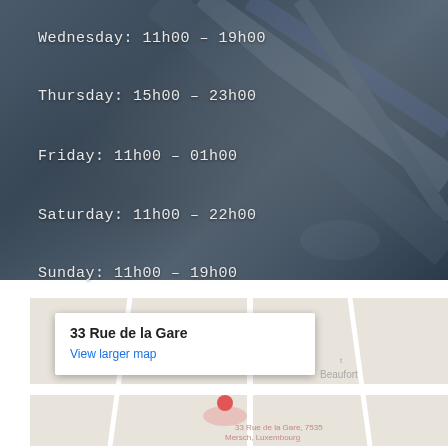[Figure (photo): Dark blurred background photo showing what appears to be a surface with diagonal elements, serving as background for hours text]
Wednesday: 11h00 – 19h00
Thursday: 15h00 – 23h00
Friday: 11h00 – 01h00
Saturday: 11h00 – 22h00
Sunday: 11h00 – 19h00
[Figure (map): Google Maps embed showing location of 33 Rue de la Gare, 7535 Mersch, Luxembourg with an info box showing address and 'View larger map' link]
33 Rue de la Gare
View larger map